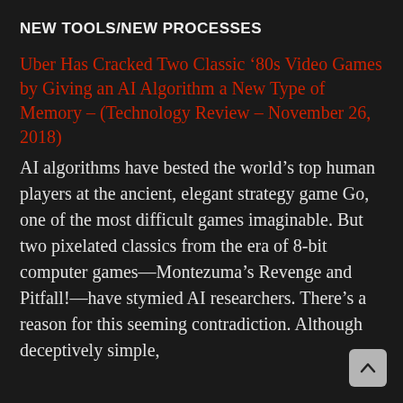NEW TOOLS/NEW PROCESSES
Uber Has Cracked Two Classic ‘80s Video Games by Giving an AI Algorithm a New Type of Memory – (Technology Review – November 26, 2018)
AI algorithms have bested the world’s top human players at the ancient, elegant strategy game Go, one of the most difficult games imaginable. But two pixelated classics from the era of 8-bit computer games—Montezuma’s Revenge and Pitfall!—have stymied AI researchers. There’s a reason for this seeming contradiction. Although deceptively simple,